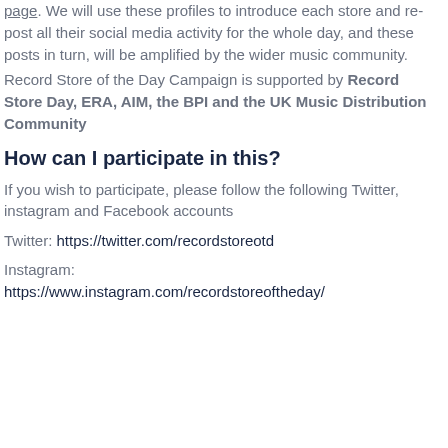page.  We will use these profiles to introduce each store and re-post all their social media activity for the whole day, and these posts in turn, will be amplified by the wider music community.
Record Store of the Day Campaign is supported by Record Store Day, ERA, AIM, the BPI and the UK Music Distribution Community
How can I participate in this?
If you wish to participate, please follow the following Twitter, instagram and Facebook accounts
Twitter: https://twitter.com/recordstoreotd
Instagram: https://www.instagram.com/recordstoreoftheday/